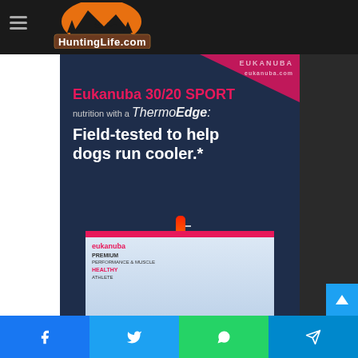[Figure (logo): HuntingLife.com logo with orange mountain/deer silhouette graphic and text on dark header bar]
[Figure (advertisement): Eukanuba 30/20 SPORT dog food advertisement with ThermoEdge branding, tagline 'Field-tested to help dogs run cooler.*', thermometer graphic with running dog silhouette, and product box at bottom]
Facebook share | Twitter share | WhatsApp share | Telegram share